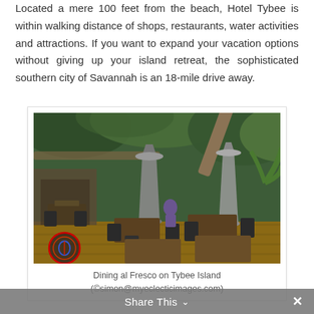Located a mere 100 feet from the beach, Hotel Tybee is within walking distance of shops, restaurants, water activities and attractions. If you want to expand your vacation options without giving up your island retreat, the sophisticated southern city of Savannah is an 18-mile drive away.
[Figure (photo): Outdoor dining area (al fresco) on Tybee Island with wooden deck, tables and chairs, large patio heaters, and lush green trees overhead. Shows a rustic open-air restaurant setting.]
Dining al Fresco on Tybee Island
(©simon@myeclecticimages.com)
Share This